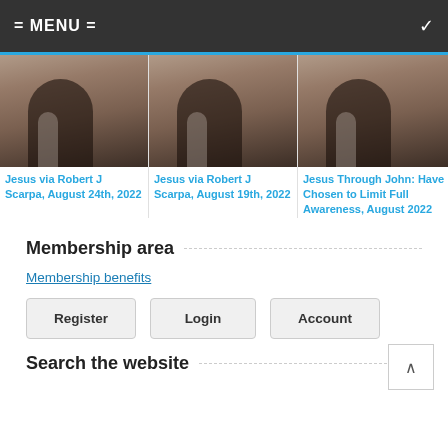= MENU =
[Figure (photo): Partial image of a figure (Jesus) seated outdoors on rocky/desert ground, cropped at top - card 1]
Jesus via Robert J Scarpa, August 24th, 2022
[Figure (photo): Partial image of a figure (Jesus) seated outdoors on rocky/desert ground, cropped at top - card 2]
Jesus via Robert J Scarpa, August 19th, 2022
[Figure (photo): Partial image of a figure (Jesus) seated outdoors on rocky/desert ground, cropped at top - card 3]
Jesus Through John: Have Chosen to Limit Full Awareness, August 2022
Membership area
Membership benefits
Register
Login
Account
Search the website